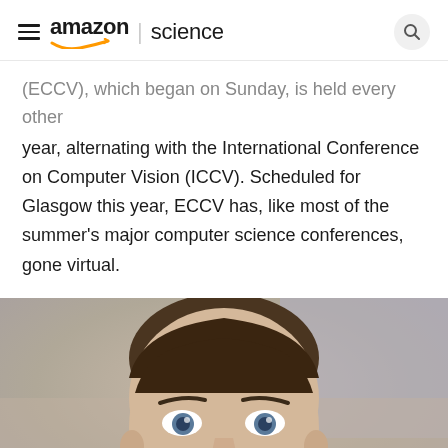amazon | science
(ECCV), which began on Sunday, is held every other year, alternating with the International Conference on Computer Vision (ICCV). Scheduled for Glasgow this year, ECCV has, like most of the summer's major computer science conferences, gone virtual.
[Figure (photo): Portrait photo of a man with short dark hair and blue eyes, photographed against a blurred background]